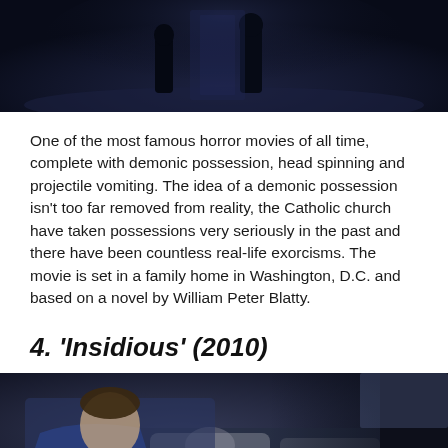[Figure (photo): Dark scene from a horror movie showing silhouetted figures in a dimly lit room with blue-dark tones]
One of the most famous horror movies of all time, complete with demonic possession, head spinning and projectile vomiting. The idea of a demonic possession isn't too far removed from reality, the Catholic church have taken possessions very seriously in the past and there have been countless real-life exorcisms. The movie is set in a family home in Washington, D.C. and based on a novel by William Peter Blatty.
4. 'Insidious' (2010)
[Figure (photo): Scene from Insidious (2010) showing a man in a blue jacket looking concerned, with a person lying in a bed in the background, in dark blue-grey tones]